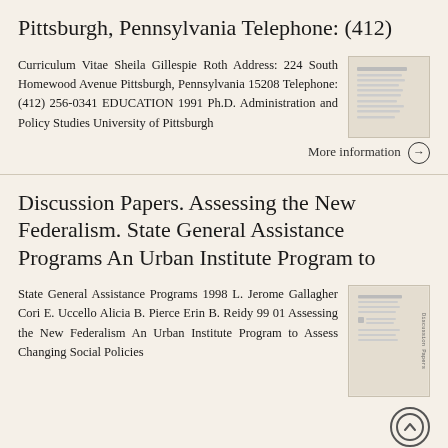Pittsburgh, Pennsylvania Telephone: (412)
Curriculum Vitae Sheila Gillespie Roth Address: 224 South Homewood Avenue Pittsburgh, Pennsylvania 15208 Telephone: (412) 256-0341 EDUCATION 1991 Ph.D. Administration and Policy Studies University of Pittsburgh
More information →
Discussion Papers. Assessing the New Federalism. State General Assistance Programs An Urban Institute Program to
State General Assistance Programs 1998 L. Jerome Gallagher Cori E. Uccello Alicia B. Pierce Erin B. Reidy 99 01 Assessing the New Federalism An Urban Institute Program to Assess Changing Social Policies